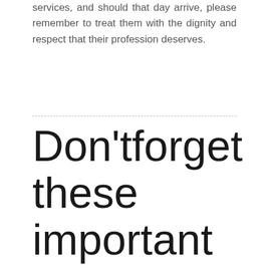services, and should that day arrive, please remember to treat them with the dignity and respect that their profession deserves.
Don't forget these important prerequisites before getting married